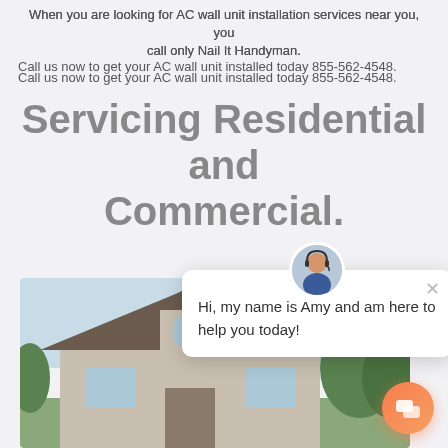When you are looking for AC wall unit installation services near you, you call only Nail It Handyman.
Call us now to get your AC wall unit installed today 855-562-4548.
Servicing Residential and Commercial.
[Figure (photo): Photo of a residential house with a peaked roof, beige siding, and trees in the background]
[Figure (screenshot): Chat popup with avatar of customer service representative Amy, with message: Hi, my name is Amy and am here to help you today!]